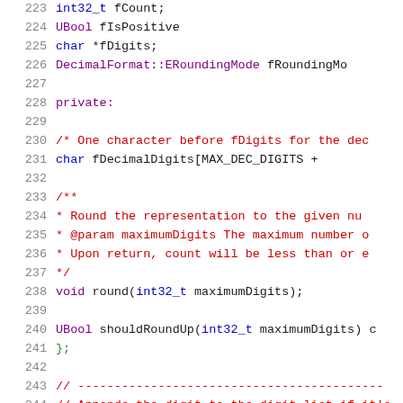Source code listing, lines 223-244, showing C++ class member declarations and private section with comments and method declarations.